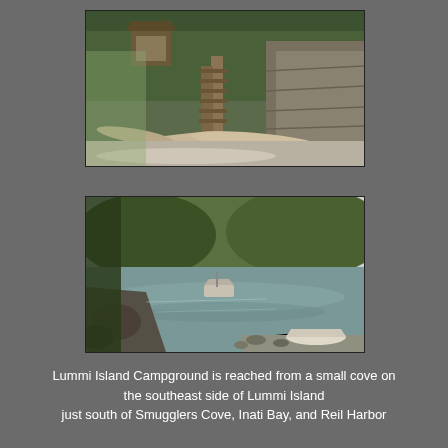[Figure (photo): Beach scene at Lummi Island campground showing wooden stairs leading up a rocky hillside, with large driftwood logs scattered on the beach in the foreground and a forested hillside in the background.]
[Figure (photo): Small cove on the southeast side of Lummi Island showing calm water, a rocky shoreline in the foreground, a small boat moored in the middle distance, and forested hillsides surrounding the cove.]
Lummi Island Campground is reached from a small cove on the southeast side of Lummi Island just south of Smugglers Cove, Inati Bay, and Reil Harbor